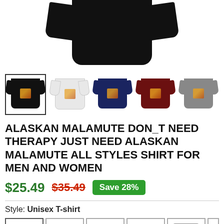[Figure (photo): Top portion of a black t-shirt shown against white background, cropped at the top]
[Figure (photo): Row of 5 color variant thumbnails of the t-shirt: black (selected, with border), white, navy, burgundy/maroon, gray. Each shows a small graphic on the shirt.]
ALASKAN MALAMUTE DON_T NEED THERAPY JUST NEED ALASKAN MALAMUTE ALL STYLES SHIRT FOR MEN AND WOMEN
$25.49  $35.49  Save 28%
Style: Unisex T-shirt
[Figure (photo): Row of style variant thumbnails showing different garment styles: unisex t-shirt (black, selected), 4 more black t-shirt styles, and a gray hoodie, all with the same graphic]